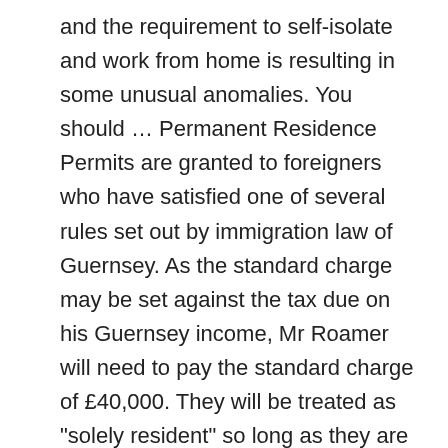and the requirement to self-isolate and work from home is resulting in some unusual anomalies. You should … Permanent Residence Permits are granted to foreigners who have satisfied one of several rules set out by immigration law of Guernsey. As the standard charge may be set against the tax due on his Guernsey income, Mr Roamer will need to pay the standard charge of £40,000. They will be treated as "solely resident" so long as they are resident as shown above and they are not resident anywhere else in that year (and for this purpose they will be treated as being resident somewhere else if they spend 91 days or more in that place). Finally they will be treated as